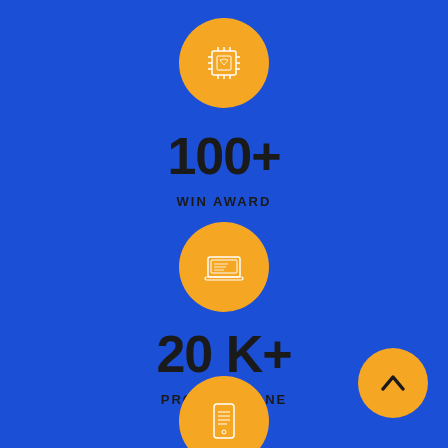[Figure (infographic): Orange circle icon with white circuit/chip icon at top center]
100+
WIN AWARD
[Figure (infographic): Orange circle icon with white laptop/monitor icon in middle center]
20 K+
PROJECT DONE
[Figure (infographic): Orange circle scroll-up button at bottom right]
[Figure (infographic): Orange circle icon with white mobile/phone icon partially visible at bottom center]